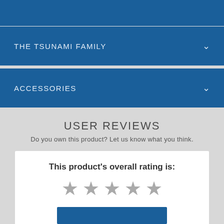THE TSUNAMI FAMILY
ACCESSORIES
USER REVIEWS
Do you own this product? Let us know what you think.
This product's overall rating is: